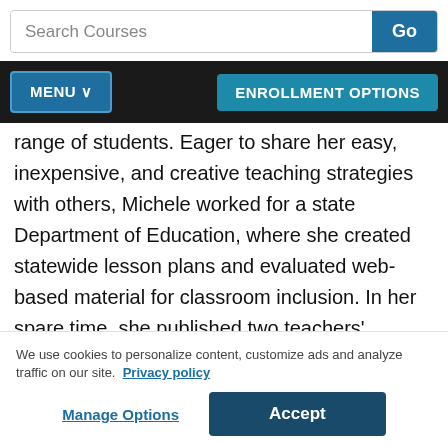[Figure (screenshot): Search bar with text 'Search Courses' and a blue 'Go' button]
[Figure (screenshot): Navigation bar with 'MENU v' button on left and 'ENROLLMENT OPTIONS' button on right, dark background]
range of students. Eager to share her easy, inexpensive, and creative teaching strategies with others, Michele worked for a state Department of Education, where she created statewide lesson plans and evaluated web-based material for classroom inclusion. In her spare time, she published two teachers' manuals focusing on introductory mathematics for preschool and elementary students.
We use cookies to personalize content, customize ads and analyze traffic on our site.  Privacy policy
Manage Options
Accept